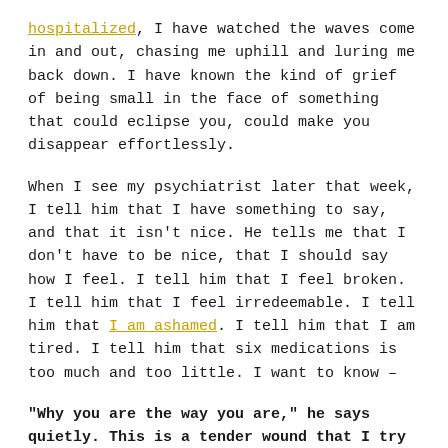hospitalized, I have watched the waves come in and out, chasing me uphill and luring me back down. I have known the kind of grief of being small in the face of something that could eclipse you, could make you disappear effortlessly.
When I see my psychiatrist later that week, I tell him that I have something to say, and that it isn't nice. He tells me that I don't have to be nice, that I should say how I feel. I tell him that I feel broken. I tell him that I feel irredeemable. I tell him that I am ashamed. I tell him that I am tired. I tell him that six medications is too much and too little. I want to know –
"Why you are the way you are," he says quietly. This is a tender wound that I try to avoid.
I nod, choking back words – words like, this isn't fair, I don't deserve this, I only ever tried to be good, I only ever tried to be kind, I shouldn't be here, I should never have been here, fuck this and fuck you.